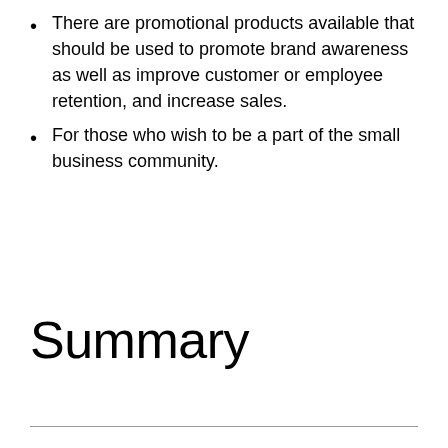There are promotional products available that should be used to promote brand awareness as well as improve customer or employee retention, and increase sales.
For those who wish to be a part of the small business community.
Summary